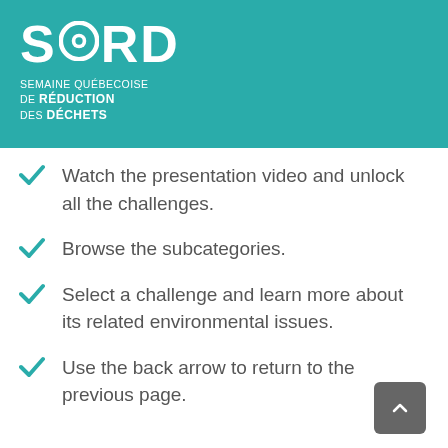[Figure (logo): SQRD logo — Semaine Québécoise de Réduction des Déchets — white text on teal background]
Watch the presentation video and unlock all the challenges.
Browse the subcategories.
Select a challenge and learn more about its related environmental issues.
Use the back arrow to return to the previous page.